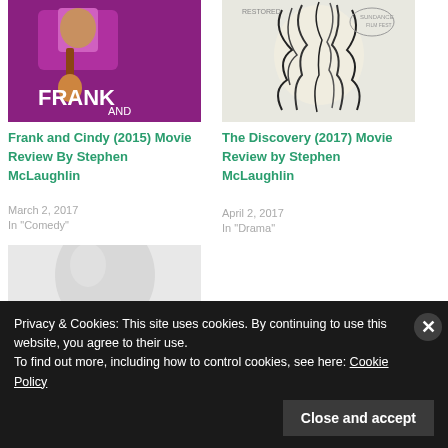[Figure (photo): Movie poster for Frank and Cindy (2015) - purple background with man holding guitar]
Frank and Cindy (2015) Movie Review By Stephen McLaughlin
March 2, 2017
In "Comedy"
[Figure (photo): Movie poster for The Discovery (2017) - person with tangled wires/hair on white background]
The Discovery (2017) Movie Review by Stephen McLaughlin
April 2, 2017
In "Drama"
[Figure (photo): Movie poster - white robotic/smooth figure with Disney logo tag, partially visible]
Privacy & Cookies: This site uses cookies. By continuing to use this website, you agree to their use.
To find out more, including how to control cookies, see here: Cookie Policy